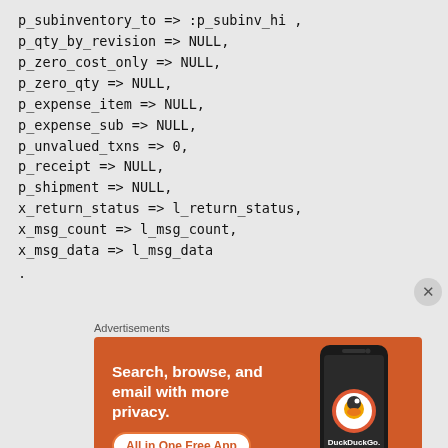p_subinventory_to => :p_subinv_hi ,
    p_qty_by_revision => NULL,
    p_zero_cost_only => NULL,
    p_zero_qty => NULL,
    p_expense_item => NULL,
    p_expense_sub => NULL,
    p_unvalued_txns => 0,
    p_receipt => NULL,
    p_shipment => NULL,
    x_return_status => l_return_status,
    x_msg_count => l_msg_count,
    x_msg_data => l_msg_data
    .
Advertisements
[Figure (infographic): DuckDuckGo advertisement banner with orange background. Text reads: 'Search, browse, and email with more privacy. All in One Free App'. Shows a smartphone with DuckDuckGo logo.]